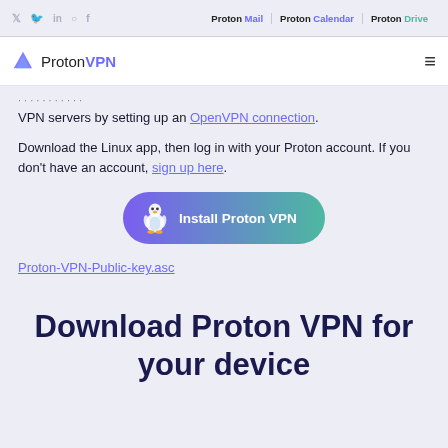Social icons: Twitter, Reddit, LinkedIn, Instagram, Facebook | Proton Mail | Proton Calendar | Proton Drive
Proton VPN (logo/nav bar)
VPN servers by setting up an OpenVPN connection.
Download the Linux app, then log in with your Proton account. If you don't have an account, sign up here.
[Figure (other): Install Proton VPN button with Linux penguin icon, purple to teal gradient background]
Proton-VPN-Public-key.asc
Download Proton VPN for your device